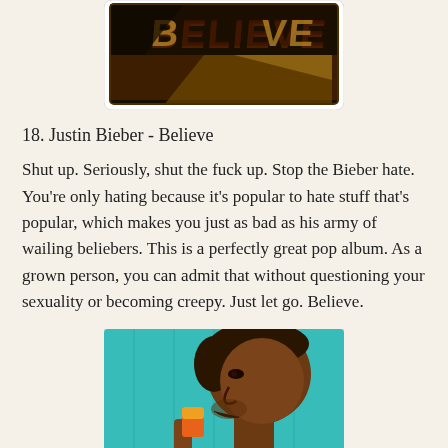[Figure (illustration): Cropped top of a Justin Bieber 'Believe' album cover with dark brown and gold text on a glossy background with rounded white border.]
18. Justin Bieber - Believe
Shut up. Seriously, shut the fuck up. Stop the Bieber hate. You're only hating because it's popular to hate stuff that's popular, which makes you just as bad as his army of wailing beliebers. This is a perfectly great pop album. As a grown person, you can admit that without questioning your sexuality or becoming creepy. Just let go. Believe.
[Figure (illustration): Illustration of a dark-skinned man in profile eating or biting into something colorful (appears orange/red), set against a teal/turquoise background.]